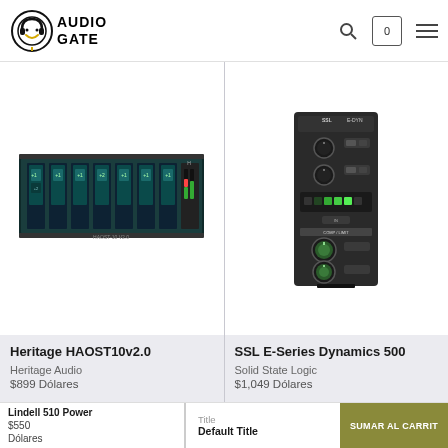AudioGate
[Figure (photo): Heritage HAOST10v2.0 rack unit - dark blue/teal rack processor with multiple channels and meters]
Heritage HAOST10v2.0
Heritage Audio
$899 Dólares
[Figure (photo): SSL E-Series Dynamics 500 module - dark grey 500-series module with green knobs and LED meters]
SSL E-Series Dynamics 500
Solid State Logic
$1,049 Dólares
Lindell 510 Power
$550
Dólares
Title
Default Title
SUMAR AL CARRIT